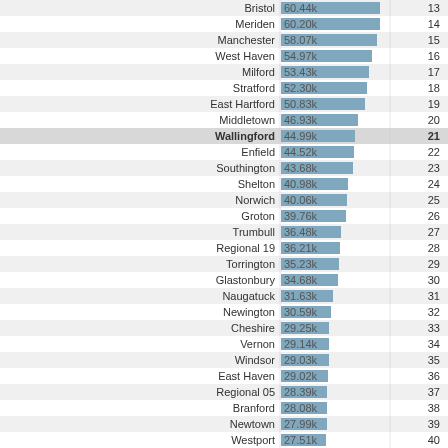[Figure (bar-chart): Population by municipality (ranked)]